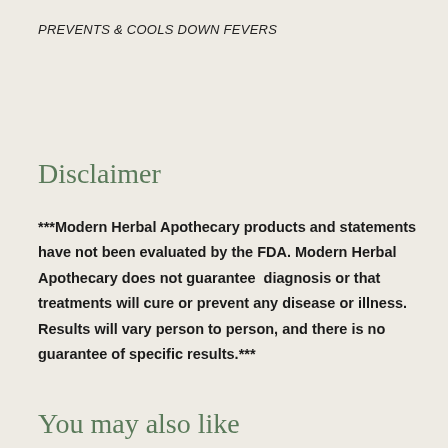PREVENTS & COOLS DOWN FEVERS
Disclaimer
***Modern Herbal Apothecary products and statements have not been evaluated by the FDA. Modern Herbal Apothecary does not guarantee  diagnosis or that treatments will cure or prevent any disease or illness. Results will vary person to person, and there is no guarantee of specific results.***
You may also like